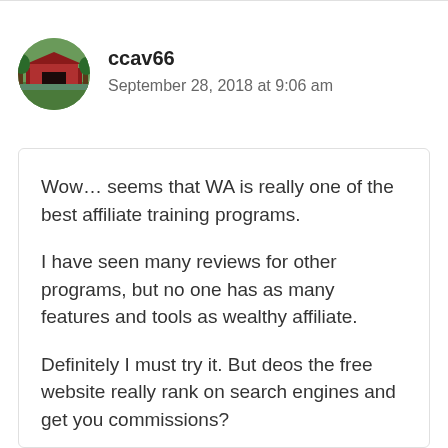[Figure (photo): Circular avatar photo of a red covered bridge in a forested area]
ccav66
September 28, 2018 at 9:06 am
Wow… seems that WA is really one of the best affiliate training programs.
I have seen many reviews for other programs, but no one has as many features and tools as wealthy affiliate.
Definitely I must try it. But deos the free website really rank on search engines and get you commissions?